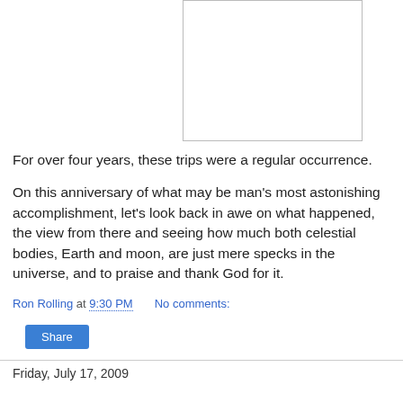[Figure (other): White rectangular image placeholder with gray border]
For over four years, these trips were a regular occurrence.
On this anniversary of what may be man's most astonishing accomplishment, let's look back in awe on what happened, the view from there and seeing how much both celestial bodies, Earth and moon, are just mere specks in the universe, and to praise and thank God for it.
Ron Rolling at 9:30 PM    No comments:
Share
Friday, July 17, 2009